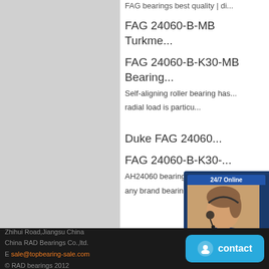[Figure (photo): Gray left panel placeholder image area]
FAG bearings best quality | di...
FAG 24060-B-MB Turkme...
FAG 24060-B-K30-MB Bearing...
Self-aligning roller bearing has...
radial load is particu...
[Figure (photo): 24/7 Online chat popup with female agent photo, Enter any requests click here text, and Quotation button]
Duke FAG 24060...
FAG 24060-B-K30-...
AH24060 bearing provided by t...
any brand bearings currently in...
Zhihui Road,Jiangsu China
China RAD Bearings Co.,ltd.
E sale@topbearing-sale.com
© RAD bearings 2012